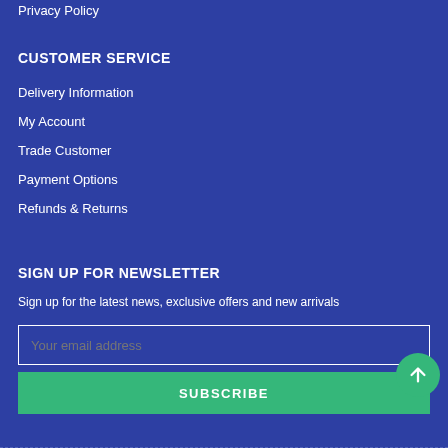Privacy Policy
CUSTOMER SERVICE
Delivery Information
My Account
Trade Customer
Payment Options
Refunds & Returns
SIGN UP FOR NEWSLETTER
Sign up for the latest news, exclusive offers and new arrivals
Your email address
SUBSCRIBE